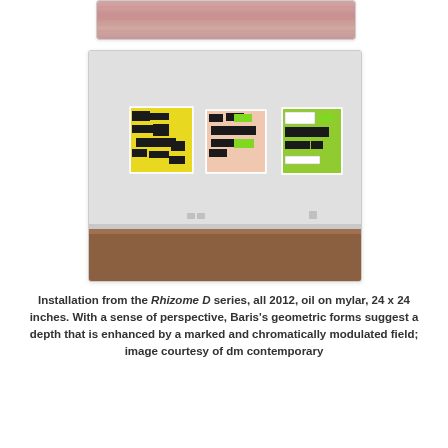[Figure (photo): Partial view of a pink/salmon textured artwork, cropped at top of page]
[Figure (photo): Gallery installation photo showing three abstract paintings from the Rhizome D series hung on a white wall. Left painting has yellow background with black geometric shapes, center painting has pale pink background with black and green shapes, right painting has bright green background with black and white shapes. Hardwood floor visible at bottom.]
Installation from the Rhizome D series, all 2012, oil on mylar, 24 x 24 inches. With a sense of perspective, Baris's geometric forms suggest a depth that is enhanced by a marked and chromatically modulated field; image courtesy of dm contemporary